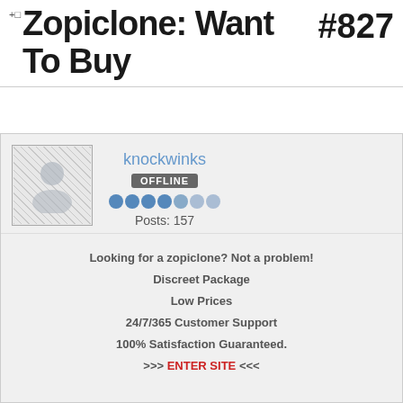Zopiclone: Want To Buy #827
[Figure (illustration): User avatar placeholder with chess pawn icon on checkered background]
knockwinks
OFFLINE
Posts: 157
Looking for a zopiclone? Not a problem!
Discreet Package
Low Prices
24/7/365 Customer Support
100% Satisfaction Guaranteed.
>>> ENTER SITE <<<